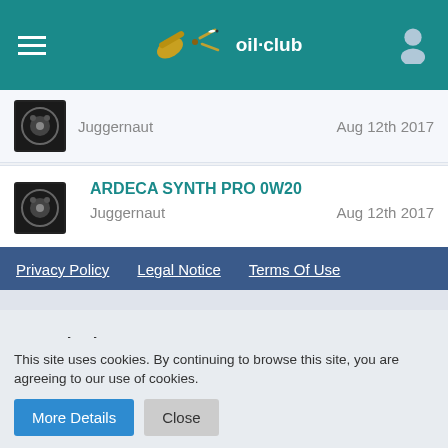oil-club
Juggernaut  Aug 12th 2017
ARDECA SYNTH PRO 0W20  Juggernaut  Aug 12th 2017
Statistics
20 Threads · 104 Posts (0.06 Posts per Day)
Privacy Policy   Legal Notice   Terms Of Use
This site uses cookies. By continuing to browse this site, you are agreeing to our use of cookies.